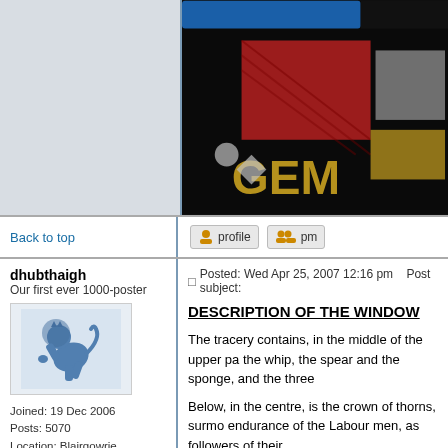[Figure (photo): Dark close-up photo showing colorful text/embroidery with blue, red, yellow/gold colors on black background, partially showing word 'GEM']
Back to top
[Figure (screenshot): Profile button icon]
[Figure (screenshot): PM button icon]
dhubthaigh
Our first ever 1000-poster
[Figure (illustration): Blue lion rampant heraldic avatar image]
Joined: 19 Dec 2006
Posts: 5070
Location: Blairgowrie, Perthshire
Posted: Wed Apr 25, 2007 12:16 pm   Post subject:
DESCRIPTION OF THE WINDOW
The tracery contains, in the middle of the upper pa the whip, the spear and the sponge, and the three
Below, in the centre, is the crown of thorns, surmo endurance of the Labour men, as followers of their
The rest of the tracery contains figures of angels a
"Laborare est honore"